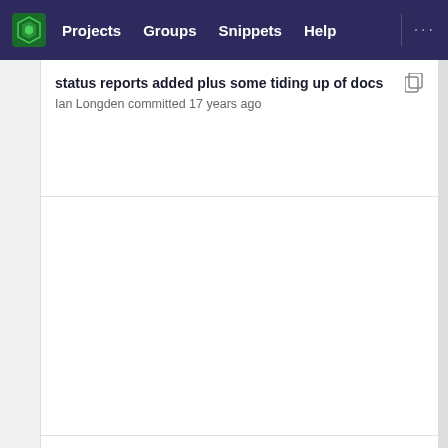Projects  Groups  Snippets  Help  ...
status reports added plus some tiding up of docs
Ian Longden committed 17 years ago
add additional calls
Web Admin committed 18 years ago
-Restructured SliceAdaptor